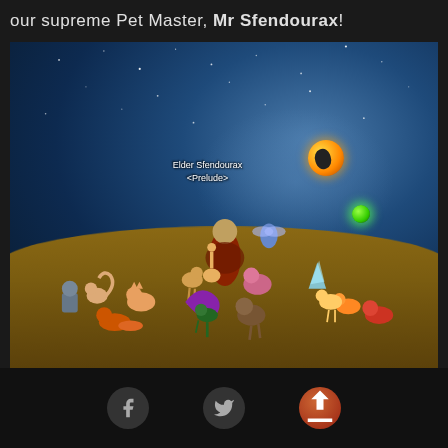our supreme Pet Master, Mr Sfendourax!
[Figure (screenshot): World of Warcraft screenshot showing a character named 'Elder Sfendourax <Prelude>' standing on a raised platform surrounded by many battle pets including cats, foxes, birds, reptiles, and fantasy creatures. The scene has a dark night sky background with stars. An orange eye-like orb and a green glowing orb float on the right side of the image.]
Facebook icon, Twitter icon, Share/Upload icon